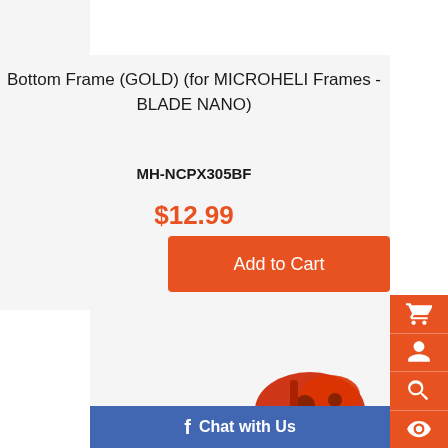[Figure (photo): Product image area at top (partially visible white region)]
Bottom Frame (GOLD) (for MICROHELI Frames - BLADE NANO)
MH-NCPX305BF
$12.99
Add to Cart
[Figure (screenshot): Right sidebar with shopping cart, user, search, and eye/view icons in orange]
[Figure (photo): Second product image - red/orange helicopter frame part, partially visible]
Chat with Us